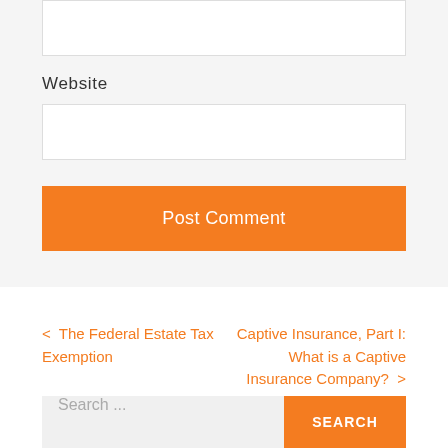Website
Post Comment
< The Federal Estate Tax Exemption
Captive Insurance, Part I: What is a Captive Insurance Company? >
Search ...
SEARCH